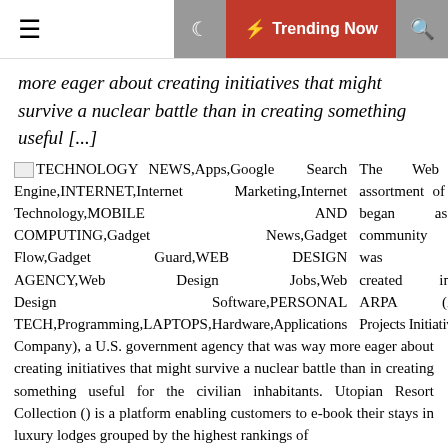☰  🌙  ⚡ Trending Now  🔍
more eager about creating initiatives that might survive a nuclear battle than in creating something useful [...]
TECHNOLOGY NEWS,Apps,Google Search Engine,INTERNET,Internet Marketing,Internet Technology,MOBILE AND COMPUTING,Gadget News,Gadget Flow,Gadget Guard,WEB DESIGN AGENCY,Web Design Jobs,Web Design Software,PERSONAL TECH,Programming,LAPTOPS,Hardware,Applications Company), a U.S. government agency that was way more eager about creating initiatives that might survive a nuclear battle than in creating something useful for the civilian inhabitants. Utopian Resort Collection () is a platform enabling customers to e-book their stays in luxury lodges grouped by the highest rankings of
The Web is a worldwide assortment of pc networks that began as a single community that was originally created in 1969 by ARPA (Advanced Research Projects Agency